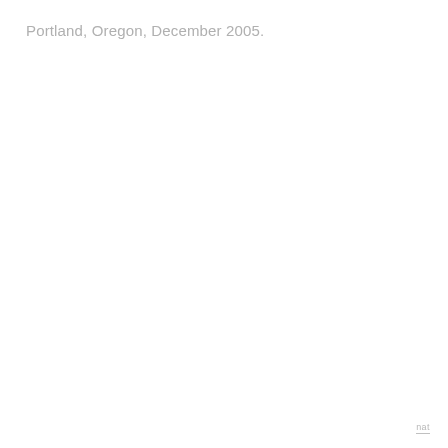Portland, Oregon, December 2005.
nat